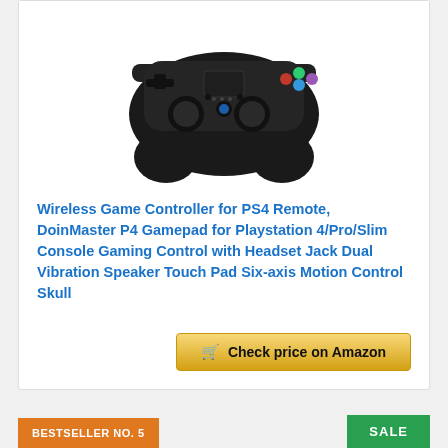[Figure (photo): Black wireless PS4 game controller viewed from the front, with dual analog sticks, D-pad, face buttons, touchpad, and speaker grille visible against a white background.]
Wireless Game Controller for PS4 Remote, DoinMaster P4 Gamepad for Playstation 4/Pro/Slim Console Gaming Control with Headset Jack Dual Vibration Speaker Touch Pad Six-axis Motion Control Skull
Check price on Amazon
BESTSELLER NO. 5
SALE